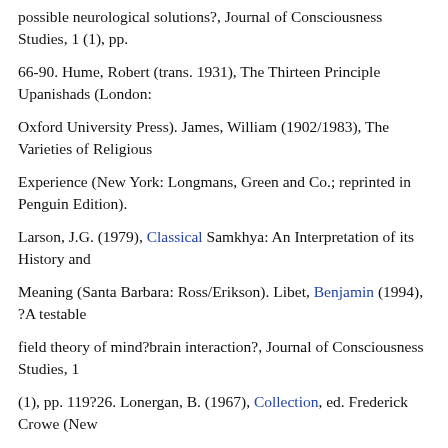possible neurological solutions?, Journal of Consciousness Studies, 1 (1), pp.
66-90. Hume, Robert (trans. 1931), The Thirteen Principle Upanishads (London:
Oxford University Press). James, William (1902/1983), The Varieties of Religious
Experience (New York: Longmans, Green and Co.; reprinted in Penguin Edition).
Larson, J.G. (1979), Classical Samkhya: An Interpretation of its History and
Meaning (Santa Barbara: Ross/Erikson). Libet, Benjamin (1994), ?A testable
field theory of mind?brain interaction?, Journal of Consciousness Studies, 1
(1), pp. 119?26. Lonergan, B. (1967), Collection, ed. Frederick Crowe (New
York: Herder and Herder). McCarthy, Michael H. (1990), The Crisis in Philosophy